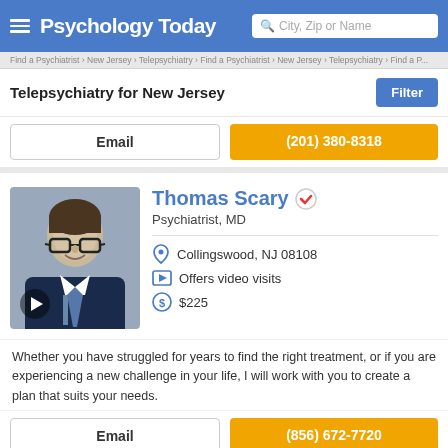Psychology Today — City, Zip or Name search
Telepsychiatry for New Jersey
Email   (201) 380-8318
Thomas Scary
Psychiatrist, MD
Collingswood, NJ 08108
Offers video visits
$225
Whether you have struggled for years to find the right treatment, or if you are experiencing a new challenge in your life, I will work with you to create a plan that suits your needs.
Email   (856) 672-7720